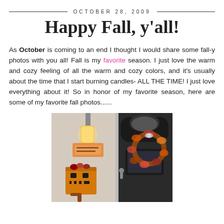OCTOBER 28, 2009
Happy Fall, y'all!
As October is coming to an end I thought I would share some fall-y photos with you all! Fall is my favorite season. I just love the warm and cozy feeling of all the warm and cozy colors, and it's usually about the time that I start burning candles- ALL THE TIME! I just love everything about it! So in honor of my favorite season, here are some of my favorite fall photos......
[Figure (photo): A front entryway decorated for fall/Halloween with a jack-o-lantern box decoration on the left side, a lit wall lantern, and a fall leaf wreath on a dark front door on the right.]